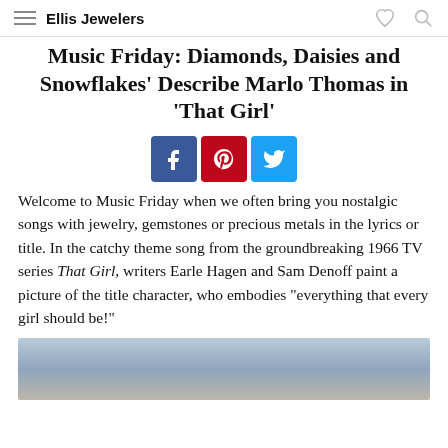Ellis Jewelers
Music Friday: Diamonds, Daisies and Snowflakes' Describe Marlo Thomas in 'That Girl'
[Figure (other): Social media sharing buttons: Facebook (blue), Pinterest (red), Twitter (light blue)]
Welcome to Music Friday when we often bring you nostalgic songs with jewelry, gemstones or precious metals in the lyrics or title. In the catchy theme song from the groundbreaking 1966 TV series That Girl, writers Earle Hagen and Sam Denoff paint a picture of the title character, who embodies “everything that every girl should be!”
[Figure (photo): Partial photo at bottom of page, appears to show a person, mostly cropped out of view]